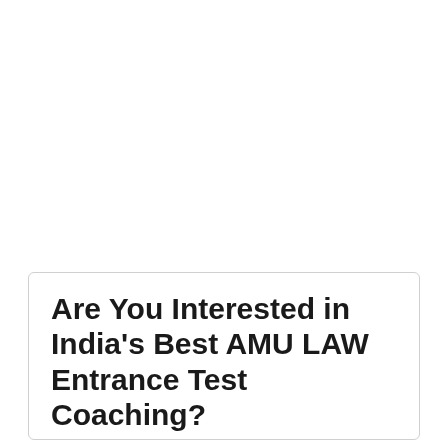Are You Interested in India's Best AMU LAW Entrance Test Coaching?
Delhi Law Academy conducts India's best AMU LAW Entrance Test & other 5 year LLB Coaching